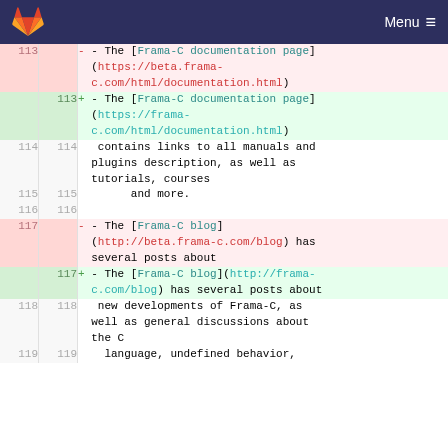GitLab · Menu
| old_ln | new_ln | code |
| --- | --- | --- |
| 113 |  | - - The [Frama-C documentation page](https://beta.frama-c.com/html/documentation.html) |
|  | 113 | + - The [Frama-C documentation page](https://frama-c.com/html/documentation.html) |
| 114 | 114 |     contains links to all manuals and plugins description, as well as tutorials, courses |
| 115 | 115 |         and more. |
| 116 | 116 |  |
| 117 |  | - - The [Frama-C blog](http://beta.frama-c.com/blog) has several posts about |
|  | 117 | + - The [Frama-C blog](http://frama-c.com/blog) has several posts about |
| 118 | 118 |     new developments of Frama-C, as well as general discussions about the C |
| 119 | 119 |       language, undefined behavior, |